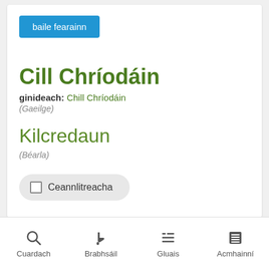baile fearainn
Cill Chríodáin
ginideach: Chill Chríodáin
(Gaeilge)
Kilcredaun
(Béarla)
Ceannlitreacha
Cuardach   Brabhsáil   Gluais   Acmhainní